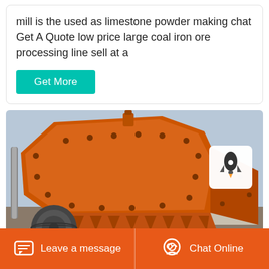mill is the used as limestone powder making chat Get A Quote low price large coal iron ore processing line sell at a
Get More
[Figure (photo): Large orange industrial impact crusher / hammer mill machine photographed outdoors with a pulley belt wheel visible at lower left and a building in the background. A small rocket icon badge appears in the upper right corner.]
Leave a message   Chat Online